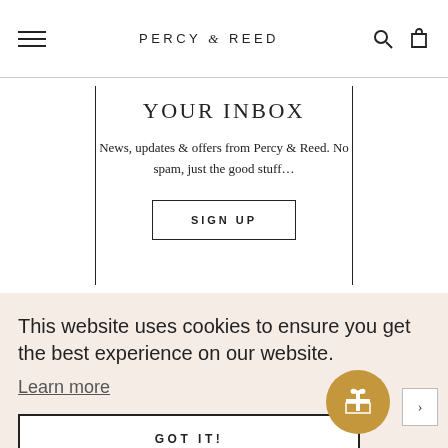PERCY & REED
YOUR INBOX
News, updates & offers from Percy & Reed. No spam, just the good stuff…
SIGN UP
This website uses cookies to ensure you get the best experience on our website.
Learn more
GOT IT!